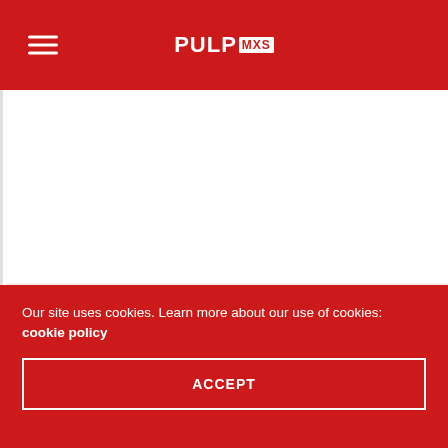PULPMXS
Unbelievable win for Dungey. And to think, he was so close to
Our site uses cookies. Learn more about our use of cookies: cookie policy
ACCEPT